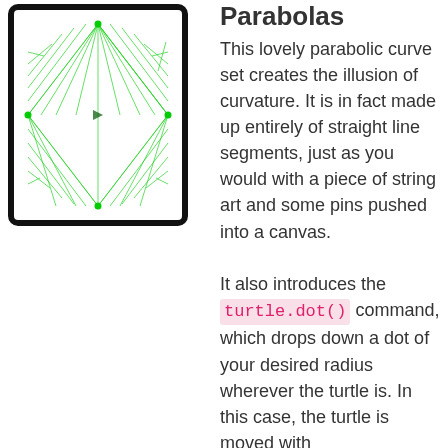[Figure (illustration): A tablet/screen showing a green star-shaped parabolic curve made of straight line segments, with dots at the corners and center, on a black-bordered white background.]
Parabolas
This lovely parabolic curve set creates the illusion of curvature. It is in fact made up entirely of straight line segments, just as you would with a piece of string art and some pins pushed into a canvas.
It also introduces the turtle.dot() command, which drops down a dot of your desired radius wherever the turtle is. In this case, the turtle is moved with turtle.goto(). Thi...